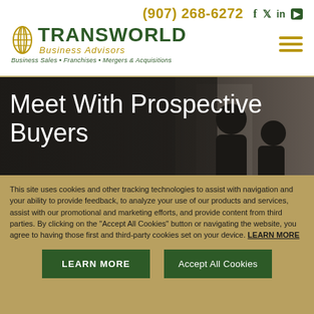(907) 268-6272  f  𝕏  in  ▶
[Figure (logo): Transworld Business Advisors logo with globe icon, green text, and gold italic 'Business Advisors' subtitle. Tagline: Business Sales • Franchises • Mergers & Acquisitions]
Meet With Prospective Buyers
Transworld will attend most meetings with buyers and be present on conference calls. We will prepare beforehand. We will also have a post
This site uses cookies and other tracking technologies to assist with navigation and your ability to provide feedback, to analyze your use of our products and services, assist with our promotional and marketing efforts, and provide content from third parties. By clicking on the "Accept All Cookies" button or navigating the website, you agree to having those first and third-party cookies set on your device. LEARN MORE
LEARN MORE
Accept All Cookies